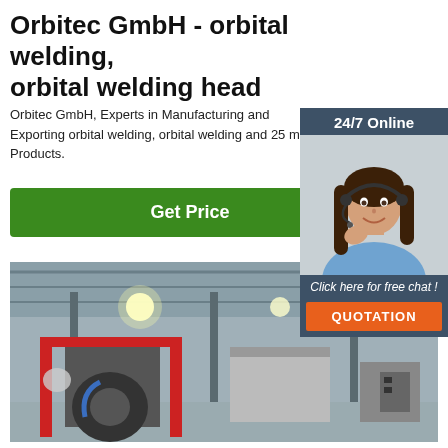Orbitec GmbH - orbital welding, orbital welding head
Orbitec GmbH, Experts in Manufacturing and Exporting orbital welding, orbital welding and 25 more Products.
[Figure (other): Green 'Get Price' button]
[Figure (other): 24/7 Online chat widget with woman wearing headset, 'Click here for free chat!' text, and orange QUOTATION button]
[Figure (photo): Factory floor showing industrial welding/manufacturing machinery with red frames and overhead lighting in a large warehouse]